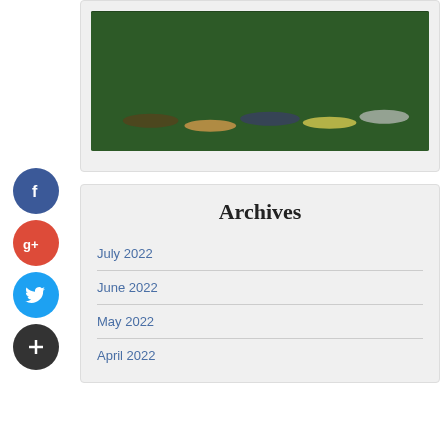[Figure (screenshot): YouTube video thumbnail showing 'Physical Educat...' with children lying on grass, red YouTube play button overlay, and YouTube logo in top-left corner]
Archives
July 2022
June 2022
May 2022
April 2022